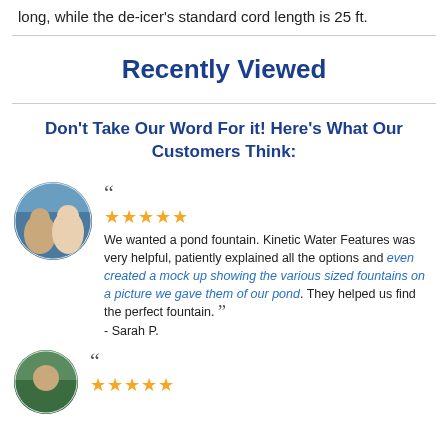long, while the de-icer's standard cord length is 25 ft.
Recently Viewed
Don't Take Our Word For it! Here's What Our Customers Think:
[Figure (photo): Circular avatar photo of a couple standing outdoors near water]
We wanted a pond fountain. Kinetic Water Features was very helpful, patiently explained all the options and even created a mock up showing the various sized fountains on a picture we gave them of our pond. They helped us find the perfect fountain. - Sarah P.
[Figure (photo): Circular avatar photo of a person outdoors near trees]